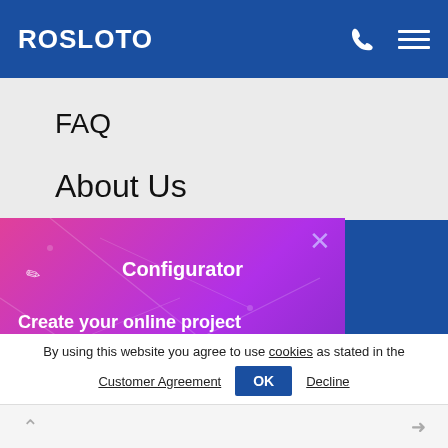ROSLOTO
FAQ
About Us
[Figure (screenshot): Modal popup with gradient background (pink to purple) showing Configurator tool. Contains pencil icon, X close button, text 'Create your online project absolutely free!' and a dark purple 'Create a casino' button.]
By using this website you agree to use cookies as stated in the
Customer Agreement  OK  Decline